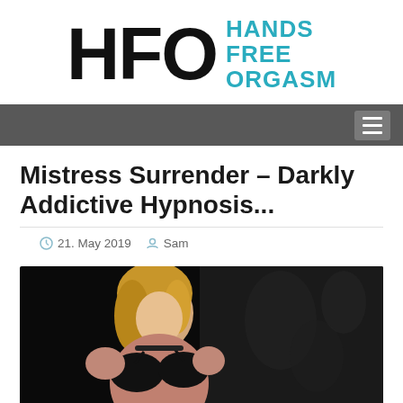[Figure (logo): HFO Hands Free Orgasm logo with bold black HFO letters and teal text 'HANDS FREE ORGASM']
Mistress Surrender – Darkly Addictive Hypnosis...
21. May 2019   Sam
[Figure (photo): Woman with blonde hair wearing black lingerie against dark floral background]